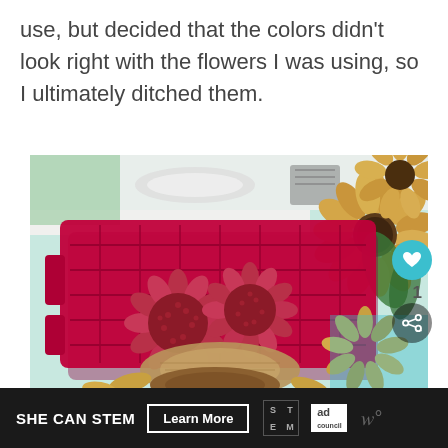use, but decided that the colors didn't look right with the flowers I was using, so I ultimately ditched them.
[Figure (photo): A red/magenta plastic storage tray lying on a table with two dark red pom-pom/chrysanthemum style artificial flowers and burlap wrapping on top, with dried sunflowers visible in the background.]
SHE CAN STEM  Learn More  [STEM logo] [Ad Council logo]